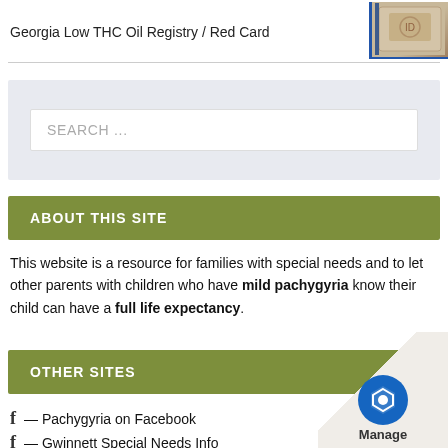Georgia Low THC Oil Registry / Red Card
[Figure (photo): A small photo of a tan/beige card holder or wallet on a blue background]
SEARCH ...
ABOUT THIS SITE
This website is a resource for families with special needs and to let other parents with children who have mild pachygyria know their child can have a full life expectancy.
OTHER SITES
f — Pachygyria on Facebook
f — Gwinnett Special Needs Info
[Figure (logo): Manage logo with blue hexagon icon on a folded paper corner overlay]